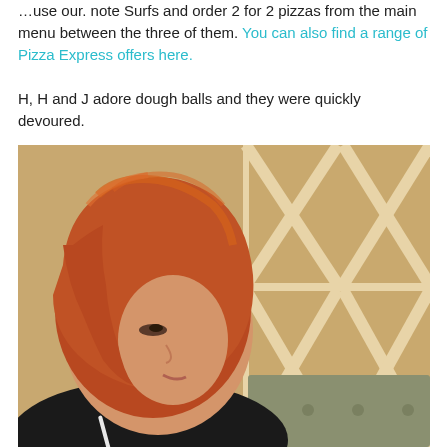...use our. note Surfs and order 2 for 2 pizzas from the main menu between the three of them. You can also find a range of Pizza Express offers here.
H, H and J adore dough balls and they were quickly devoured.
[Figure (photo): A red-haired girl/young woman with a bob haircut looking downward, seated in a restaurant booth with a wooden X-pattern decorative wall panel and olive/grey upholstered bench seating visible in the background. She appears to be reading a menu.]